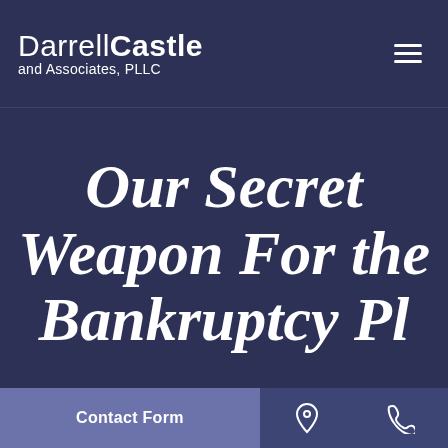Darrell Castle and Associates, PLLC
Our Secret Weapon For the Bankruptcy Pl...
Contact Form